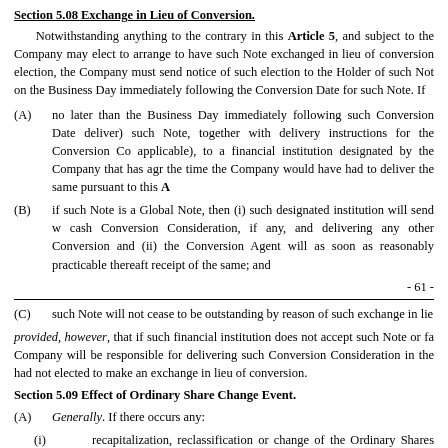Section 5.08 Exchange in Lieu of Conversion.
Notwithstanding anything to the contrary in this Article 5, and subject to the Company may elect to arrange to have such Note exchanged in lieu of conversion election, the Company must send notice of such election to the Holder of such Not on the Business Day immediately following the Conversion Date for such Note. If
(A) no later than the Business Day immediately following such Conversion Date deliver) such Note, together with delivery instructions for the Conversion Co applicable), to a financial institution designated by the Company that has agr the time the Company would have had to deliver the same pursuant to this A
(B) if such Note is a Global Note, then (i) such designated institution will send w cash Conversion Consideration, if any, and delivering any other Conversion and (ii) the Conversion Agent will as soon as reasonably practicable thereaft receipt of the same; and
- 61 -
(C) such Note will not cease to be outstanding by reason of such exchange in lie
provided, however, that if such financial institution does not accept such Note or fa Company will be responsible for delivering such Conversion Consideration in the had not elected to make an exchange in lieu of conversion.
Section 5.09 Effect of Ordinary Share Change Event.
(A) Generally. If there occurs any:
(i) recapitalization, reclassification or change of the Ordinary Shares (ot